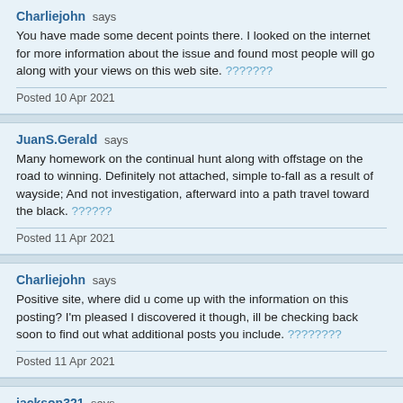Charliejohn says
You have made some decent points there. I looked on the internet for more information about the issue and found most people will go along with your views on this web site. ???????
Posted 10 Apr 2021
JuanS.Gerald says
Many homework on the continual hunt along with offstage on the road to winning. Definitely not attached, simple to-fall as a result of wayside; And not investigation, afterward into a path travel toward the black. ??????
Posted 11 Apr 2021
Charliejohn says
Positive site, where did u come up with the information on this posting? I'm pleased I discovered it though, ill be checking back soon to find out what additional posts you include. ????????
Posted 11 Apr 2021
jackson321 says